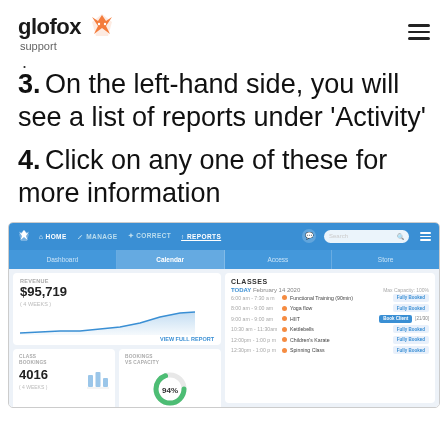glofox support
3. On the left-hand side, you will see a list of reports under 'Activity'
4. Click on any one of these for more information
[Figure (screenshot): Screenshot of the Glofox app dashboard showing HOME, MANAGE, CORRECT, REPORTS navigation, with dashboard tabs (Dashboard, Calendar, Access, Store), a revenue card showing $95,719 with a line chart, class bookings showing 4016, bookings vs capacity at 94%, and a CLASSES panel showing today's classes including Functional Training, Yoga flow, HIIT, Kettlebells, Children's Karate, Spinning Class.]